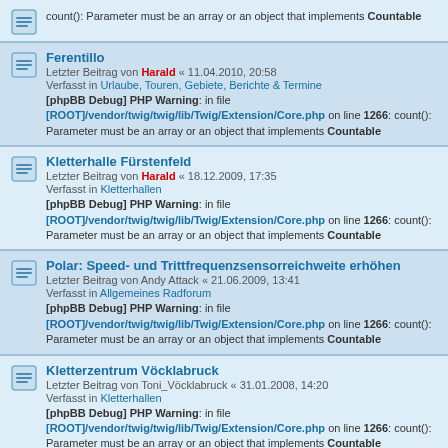count(): Parameter must be an array or an object that implements Countable
Ferentillo
Letzter Beitrag von Harald « 11.04.2010, 20:58
Verfasst in Urlaube, Touren, Gebiete, Berichte & Termine
[phpBB Debug] PHP Warning: in file [ROOT]/vendor/twig/twig/lib/Twig/Extension/Core.php on line 1266: count(): Parameter must be an array or an object that implements Countable
Kletterhalle Fürstenfeld
Letzter Beitrag von Harald « 18.12.2009, 17:35
Verfasst in Kletterhallen
[phpBB Debug] PHP Warning: in file [ROOT]/vendor/twig/twig/lib/Twig/Extension/Core.php on line 1266: count(): Parameter must be an array or an object that implements Countable
Polar: Speed- und Trittfrequenzsensorreichweite erhöhen
Letzter Beitrag von Andy Attack « 21.06.2009, 13:41
Verfasst in Allgemeines Radforum
[phpBB Debug] PHP Warning: in file [ROOT]/vendor/twig/twig/lib/Twig/Extension/Core.php on line 1266: count(): Parameter must be an array or an object that implements Countable
Kletterzentrum Vöcklabruck
Letzter Beitrag von Toni_Vöcklabruck « 31.01.2008, 14:20
Verfasst in Kletterhallen
[phpBB Debug] PHP Warning: in file [ROOT]/vendor/twig/twig/lib/Twig/Extension/Core.php on line 1266: count(): Parameter must be an array or an object that implements Countable
Kletterhalle Hermagor
Letzter Beitrag von Harald « 13.03.2007, 23:22
Verfasst in Kletterhallen
[phpBB Debug] PHP Warning: in file